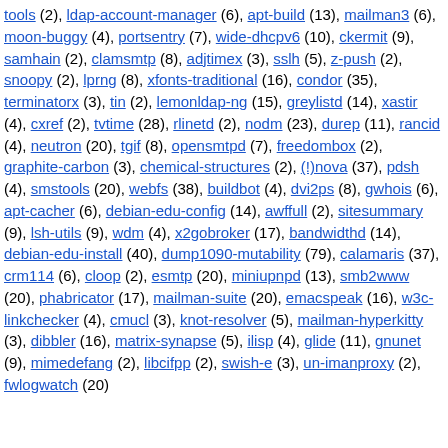tools (2), ldap-account-manager (6), apt-build (13), mailman3 (6), moon-buggy (4), portsentry (7), wide-dhcpv6 (10), ckermit (9), samhain (2), clamsmtp (8), adjtimex (3), sslh (5), z-push (2), snoopy (2), lprng (8), xfonts-traditional (16), condor (35), terminatorx (3), tin (2), lemonldap-ng (15), greylistd (14), xastir (4), cxref (2), tvtime (28), rlinetd (2), nodm (23), durep (11), rancid (4), neutron (20), tgif (8), opensmtpd (7), freedombox (2), graphite-carbon (3), chemical-structures (2), (!)nova (37), pdsh (4), smstools (20), webfs (38), buildbot (4), dvi2ps (8), gwhois (6), apt-cacher (6), debian-edu-config (14), awffull (2), sitesummary (9), lsh-utils (9), wdm (4), x2gobroker (17), bandwidthd (14), debian-edu-install (40), dump1090-mutability (79), calamaris (37), crm114 (6), cloop (2), esmtp (20), miniupnpd (13), smb2www (20), phabricator (17), mailman-suite (20), emacspeak (16), w3c-linkchecker (4), cmucl (3), knot-resolver (5), mailman-hyperkitty (3), dibbler (16), matrix-synapse (5), ilisp (4), glide (11), gnunet (9), mimedefang (2), libcifpp (2), swish-e (3), un-imanproxy (2), fwlogwatch (20)